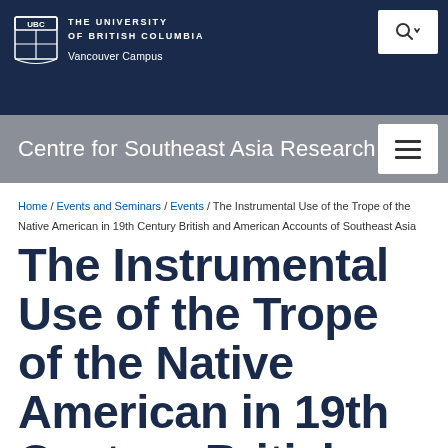THE UNIVERSITY OF BRITISH COLUMBIA Vancouver Campus
Centre for Southeast Asia Research
Home / Events and Seminars / Events / The Instrumental Use of the Trope of the Native American in 19th Century British and American Accounts of Southeast Asia
The Instrumental Use of the Trope of the Native American in 19th Century British and American Accounts of Southeast Asia